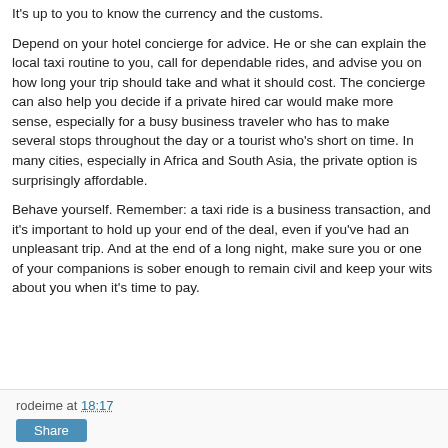It's up to you to know the currency and the customs.
Depend on your hotel concierge for advice. He or she can explain the local taxi routine to you, call for dependable rides, and advise you on how long your trip should take and what it should cost. The concierge can also help you decide if a private hired car would make more sense, especially for a busy business traveler who has to make several stops throughout the day or a tourist who’s short on time. In many cities, especially in Africa and South Asia, the private option is surprisingly affordable.
Behave yourself. Remember: a taxi ride is a business transaction, and it's important to hold up your end of the deal, even if you've had an unpleasant trip. And at the end of a long night, make sure you or one of your companions is sober enough to remain civil and keep your wits about you when it's time to pay.
rodeime at 18:17